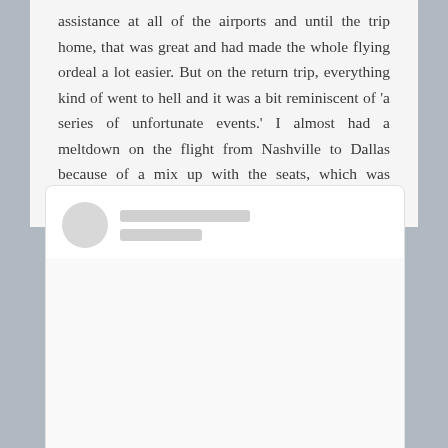assistance at all of the airports and until the trip home, that was great and had made the whole flying ordeal a lot easier. But on the return trip, everything kind of went to hell and it was a bit reminiscent of 'a series of unfortunate events.' I almost had a meltdown on the flight from Nashville to Dallas because of a mix up with the seats, which was horrible.
[Figure (screenshot): An embedded Instagram post placeholder showing a blurred/redacted profile avatar and username lines at the top, a blank white content area in the middle, the Instagram logo icon, and a 'View this post on Instagram' link at the bottom.]